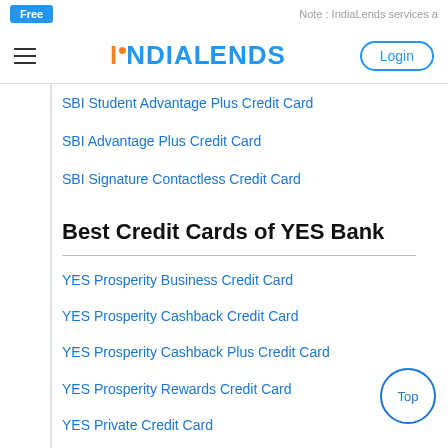Free | Note : IndiaLends services a
[Figure (logo): IndiaLends logo with hamburger menu and Login button]
SBI Student Advantage Plus Credit Card
SBI Advantage Plus Credit Card
SBI Signature Contactless Credit Card
Best Credit Cards of YES Bank
YES Prosperity Business Credit Card
YES Prosperity Cashback Credit Card
YES Prosperity Cashback Plus Credit Card
YES Prosperity Rewards Credit Card
YES Private Credit Card